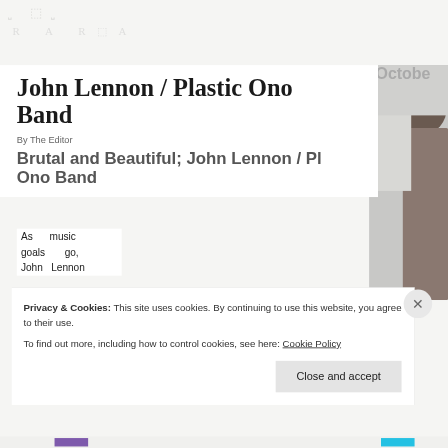John Lennon / Plastic Ono Band
By The Editor
Brutal and Beautiful; John Lennon / Plastic Ono Band
As music goals go, John Lennon
[Figure (photo): Photograph of John Lennon, partial view showing face and hair, background includes a window or light-colored wall]
October
Privacy & Cookies: This site uses cookies. By continuing to use this website, you agree to their use.
To find out more, including how to control cookies, see here: Cookie Policy
Close and accept